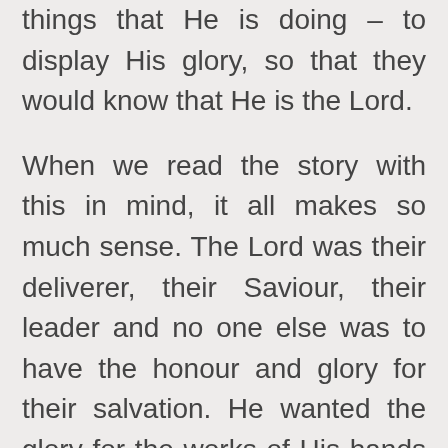things that He is doing – to display His glory, so that they would know that He is the Lord.
When we read the story with this in mind, it all makes so much sense. The Lord was their deliverer, their Saviour, their leader and no one else was to have the honour and glory for their salvation. He wanted the glory for the works of His hands and that meant taking it out of everybody else's hands, so there was no doubt that God was God and He was the only One who could deliver them. Their trust was to be totally in Him because He was the only one who